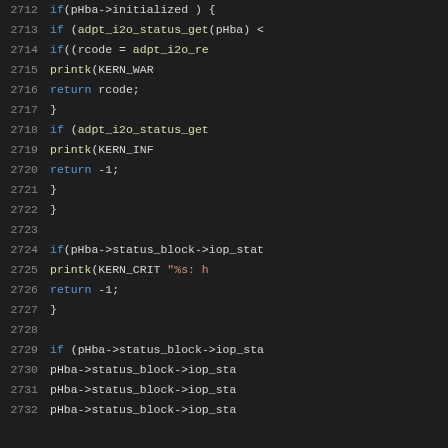[Figure (screenshot): Source code viewer showing C code lines 2712-2732 with syntax highlighting on dark background. Line numbers in gray, keywords in blue, strings in orange/green, function names in yellow.]